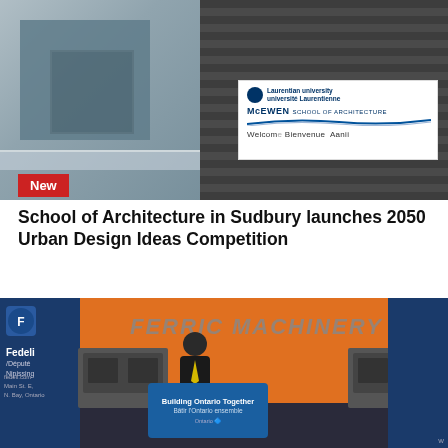[Figure (photo): Exterior photo of McEwen School of Architecture building in Sudbury, Ontario, with a Laurentian University banner visible showing Welcome/Bienvenue/Aanii]
New
School of Architecture in Sudbury launches 2050 Urban Design Ideas Competition
[Figure (photo): Press conference at Ferric Machinery with a speaker at a podium showing 'Building Ontario Together / Bâtir l'Ontario ensemble' and Ontario logo, with Fedeli branding visible on the left banner]